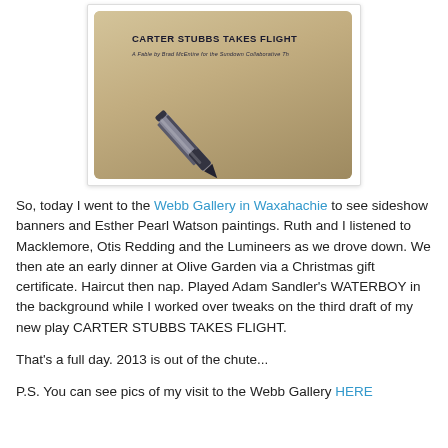[Figure (photo): A photograph styled like an Instagram/polaroid image showing a pen resting on a script page that reads 'CARTER STUBBS TAKES FLIGHT — A Fable by Brad McEntire for the Sundown Collaborative T...']
So, today I went to the Webb Gallery in Waxahachie to see sideshow banners and Esther Pearl Watson paintings. Ruth and I listened to Macklemore, Otis Redding and the Lumineers as we drove down. We then ate an early dinner at Olive Garden via a Christmas gift certificate. Haircut then nap. Played Adam Sandler's WATERBOY in the background while I worked over tweaks on the third draft of my new play CARTER STUBBS TAKES FLIGHT.
That's a full day. 2013 is out of the chute...
P.S. You can see pics of my visit to the Webb Gallery HERE